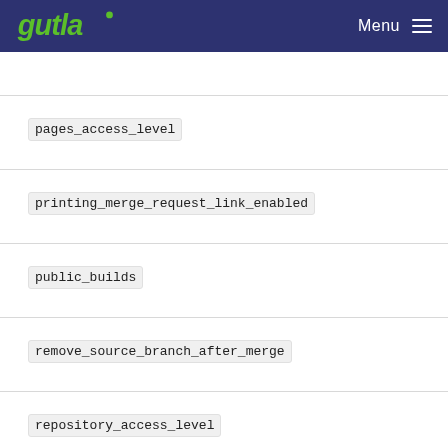Gutla — Menu
pages_access_level
printing_merge_request_link_enabled
public_builds
remove_source_branch_after_merge
repository_access_level